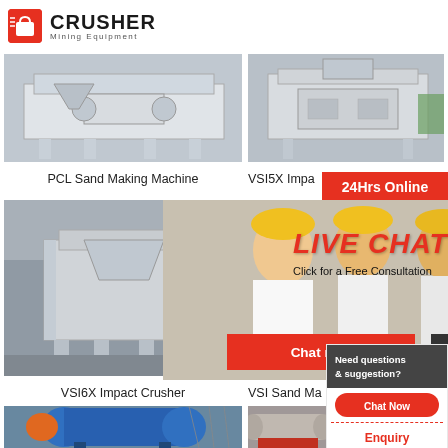[Figure (logo): Crusher Mining Equipment logo with red shopping bag icon]
[Figure (photo): PCL Sand Making Machine industrial equipment photo]
[Figure (photo): VSI5X Impact Crusher industrial equipment photo]
PCL Sand Making Machine
VSI5X Impa...
[Figure (photo): VSI6X Impact Crusher industrial equipment photo]
[Figure (photo): VSI Sand Making Machine industrial equipment photo]
[Figure (infographic): Live Chat popup overlay with workers in hard hats, LIVE CHAT text, Chat now and Chat later buttons]
24Hrs Online
LIVE CHAT
Click for a Free Consultation
Chat now
Chat later
VSI6X Impact Crusher
VSI Sand Ma...
[Figure (photo): Ball mill industrial equipment photo (blue)]
[Figure (photo): Industrial roller/drum equipment photo]
Need questions & suggestion?
Chat Now
Enquiry
limingjlmofen@sina.com